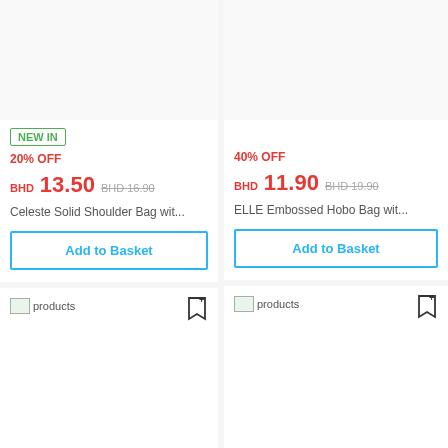[Figure (screenshot): Product image area for Celeste Solid Shoulder Bag (top left card), image broken/loading]
NEW IN
20% OFF
BHD 13.50 BHD 16.90
Celeste Solid Shoulder Bag wit...
Add to Basket
[Figure (screenshot): Product image area for ELLE Embossed Hobo Bag (top right card), image broken/loading]
40% OFF
BHD 11.90 BHD 19.90
ELLE Embossed Hobo Bag wit...
Add to Basket
[Figure (screenshot): Lower product image area left card, image broken/loading with bookmark icon]
[Figure (screenshot): Lower product image area right card, image broken/loading with bookmark icon]